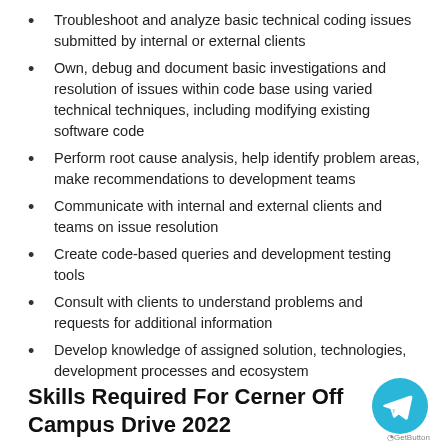Troubleshoot and analyze basic technical coding issues submitted by internal or external clients
Own, debug and document basic investigations and resolution of issues within code base using varied technical techniques, including modifying existing software code
Perform root cause analysis, help identify problem areas, make recommendations to development teams
Communicate with internal and external clients and teams on issue resolution
Create code-based queries and development testing tools
Consult with clients to understand problems and requests for additional information
Develop knowledge of assigned solution, technologies, development processes and ecosystem
Skills Required For Cerner Off Campus Drive 2022